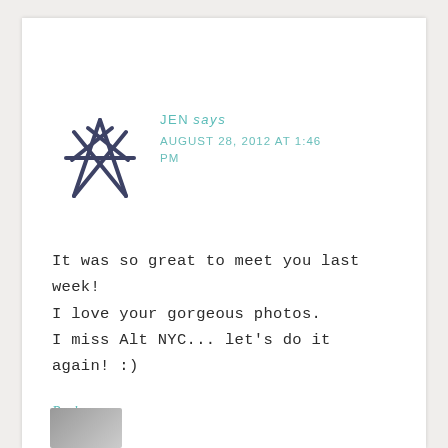[Figure (illustration): Hand-drawn star/asterisk avatar icon in dark navy blue color]
JEN says
AUGUST 28, 2012 AT 1:46 PM
It was so great to meet you last week!
I love your gorgeous photos.
I miss Alt NYC... let's do it again! :)
Reply